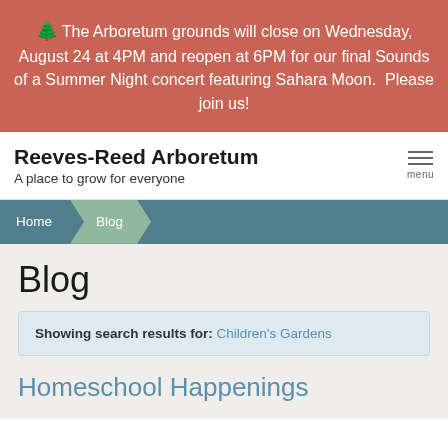🌲 The Arboretum grounds will close on Wednesday, August 24 at 4PM and reopen at 6PM for our final Sounds of a Summer Night concert featuring Sahara Moon.  Please join us!
Reeves-Reed Arboretum
A place to grow for everyone
Home > Blog
Blog
Showing search results for: Children's Gardens
Homeschool Happenings